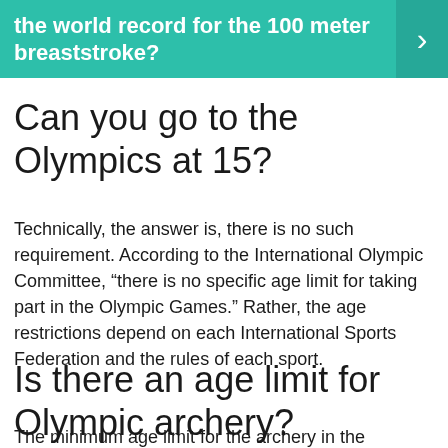the world record for the 100 meter breaststroke?
Can you go to the Olympics at 15?
Technically, the answer is, there is no such requirement. According to the International Olympic Committee, “there is no specific age limit for taking part in the Olympic Games.” Rather, the age restrictions depend on each International Sports Federation and the rules of each sport.
Is there an age limit for Olympic archery?
The minimum age limit for the archery in the